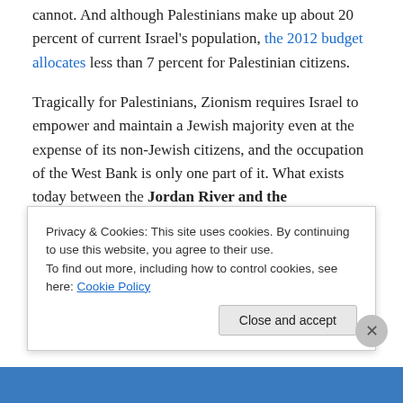cannot. And although Palestinians make up about 20 percent of current Israel's population, the 2012 budget allocates less than 7 percent for Palestinian citizens.
Tragically for Palestinians, Zionism requires Israel to empower and maintain a Jewish majority even at the expense of its non-Jewish citizens, and the occupation of the West Bank is only one part of it. What exists today between the Jordan River and the Mediterranean Sea is therefore essentially one state, under Israeli control, where Palestinians have varying degrees of limited human rights:
1. Five million...
Privacy & Cookies: This site uses cookies. By continuing to use this website, you agree to their use.
To find out more, including how to control cookies, see here: Cookie Policy